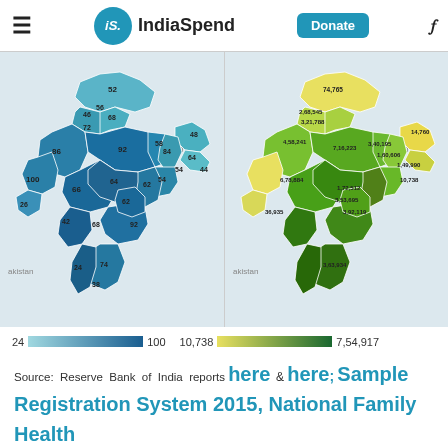IndiaSpend
[Figure (map): Two choropleth maps of India side by side. Left map shows values 24-100 (blue color scale) with state-level values labeled: 52, 46, 56, 72, 68, 86, 92, 58, 48, 84, 64, 54, 44, 100, 64, 62, 54, 66, 42, 62, 92, 68, 74, 26, 24, 38. Right map shows economic values (yellow-green color scale) with state-level values labeled: 74,765, 2,68,545, 3,21,788, 4,58,241, 7,16,223, 3,40,195, 1,60,606, 6,78,884, 1,72,512, 3,53,695, 3,92,119, 36,935, 3,63,934, 14,760, 1,49,990, 10,738.]
24 [color bar] 100    10,738 [color bar] 7,54,917
Source: Reserve Bank of India reports here & here; Sample Registration System 2015, National Family Health Survey 2015-16 Note: Domestic product at constant prices and per capita